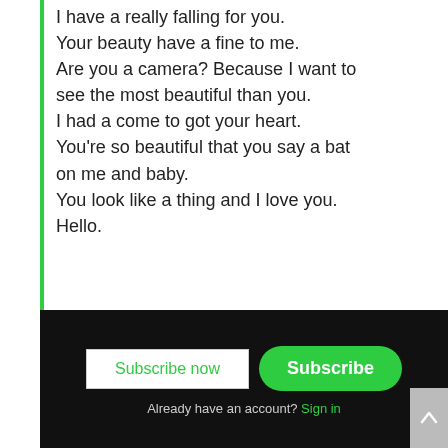I have a really falling for you.
Your beauty have a fine to me.
Are you a camera? Because I want to see the most beautiful than you.
I had a come to got your heart.
You're so beautiful that you say a bat on me and baby.
You look like a thing and I love you.
Hello.
[Figure (screenshot): Subscribe banner with dark background showing 'Subscribe now' button and green 'Subscribe' button, with 'Already have an account? Sign in' text below.]